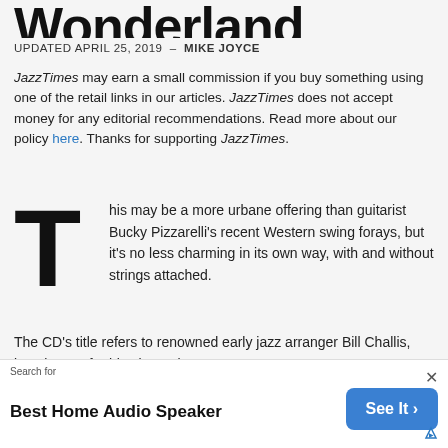Wonderland
UPDATED APRIL 25, 2019 – MIKE JOYCE
JazzTimes may earn a small commission if you buy something using one of the retail links in our articles. JazzTimes does not accept money for any editorial recommendations. Read more about our policy here. Thanks for supporting JazzTimes.
This may be a more urbane offering than guitarist Bucky Pizzarelli's recent Western swing forays, but it's no less charming in its own way, with and without strings attached.
The CD's title refers to renowned early jazz arranger Bill Challis, best known for his pioneering
Best Home Audio Speaker  See It >